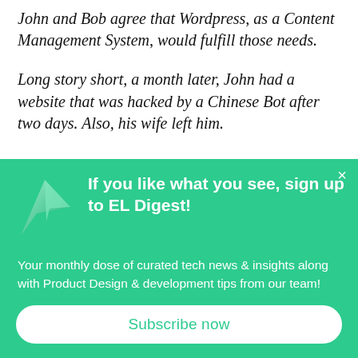John and Bob agree that Wordpress, as a Content Management System, would fulfill those needs.
Long story short, a month later, John had a website that was hacked by a Chinese Bot after two days. Also, his wife left him.
[Figure (infographic): Green subscription banner with paper-plane/arrow icon, headline 'If you like what you see, sign up to EL Digest!', body text 'Your monthly dose of curated tech news & insights along with Product Design & development tips from our team!', and a white rounded Subscribe now button. A close (×) button is in the top right.]